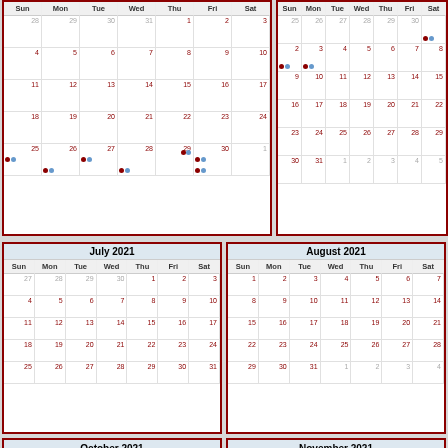[Figure (other): Partial view of a June 2021 monthly calendar (top-left), showing weeks with dates 28-30 (prev month), 1-3, 4-10, 11-17, 18-24, 25-30 with colored dot indicators on row 25-30]
[Figure (other): Partial view of a July or August 2021 monthly calendar (top-right), showing partial weeks with dots on certain dates]
[Figure (other): July 2021 full monthly calendar]
[Figure (other): August 2021 full monthly calendar]
[Figure (other): October 2021 calendar header visible at bottom-left]
[Figure (other): November 2021 calendar header visible at bottom-right]